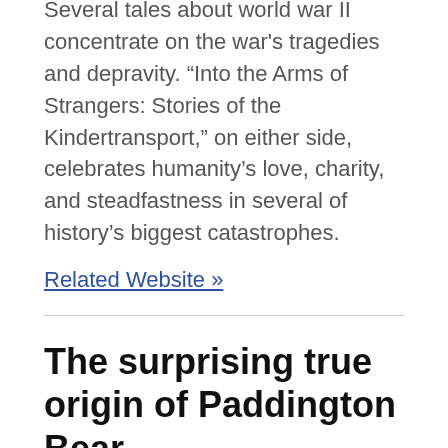Several tales about world war II concentrate on the war's tragedies and depravity. “Into the Arms of Strangers: Stories of the Kindertransport,” on either side, celebrates humanity’s love, charity, and steadfastness in several of history’s biggest catastrophes.
Related Website »
The surprising true origin of Paddington Bear
POSTED ON JUNE 6, 2022